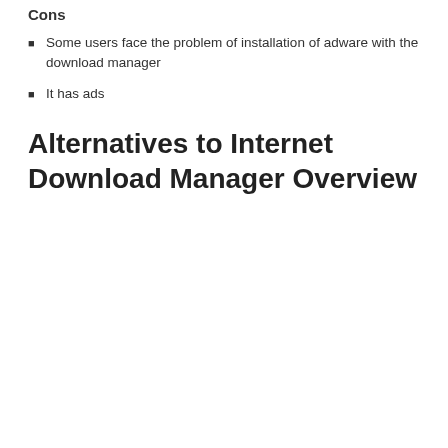Cons
Some users face the problem of installation of adware with the download manager
It has ads
Alternatives to Internet Download Manager Overview